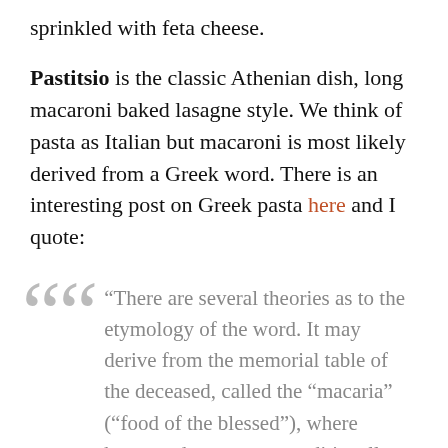sprinkled with feta cheese.
Pastitsio is the classic Athenian dish, long macaroni baked lasagne style. We think of pasta as Italian but macaroni is most likely derived from a Greek word. There is an interesting post on Greek pasta here and I quote:
“There are several theories as to the etymology of the word. It may derive from the memorial table of the deceased, called the “macaria” (“food of the blessed”), where homemade pasta was traditionally served, combined with the word “aionia,”